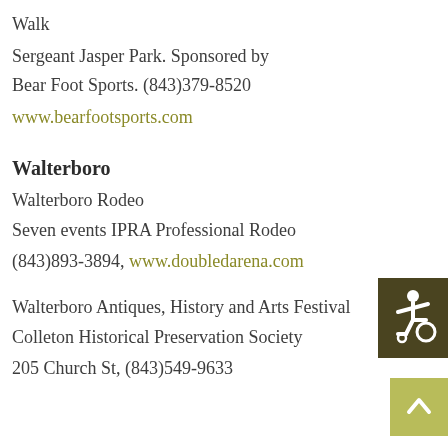Walk
Sergeant Jasper Park. Sponsored by
Bear Foot Sports. (843)379-8520
www.bearfootsports.com
Walterboro
Walterboro Rodeo
Seven events IPRA Professional Rodeo
(843)893-3894, www.doubledarena.com
Walterboro Antiques, History and Arts Festival
Colleton Historical Preservation Society
205 Church St, (843)549-9633